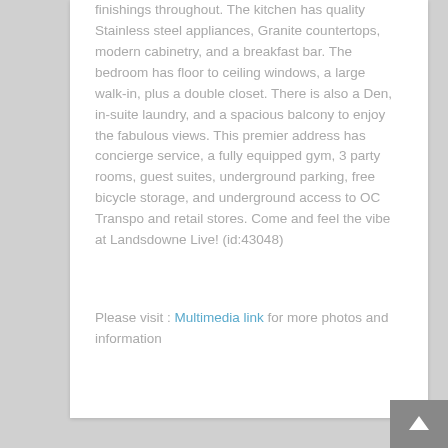finishings throughout. The kitchen has quality Stainless steel appliances, Granite countertops, modern cabinetry, and a breakfast bar. The bedroom has floor to ceiling windows, a large walk-in, plus a double closet. There is also a Den, in-suite laundry, and a spacious balcony to enjoy the fabulous views. This premier address has concierge service, a fully equipped gym, 3 party rooms, guest suites, underground parking, free bicycle storage, and underground access to OC Transpo and retail stores. Come and feel the vibe at Landsdowne Live! (id:43048)
Please visit : Multimedia link for more photos and information